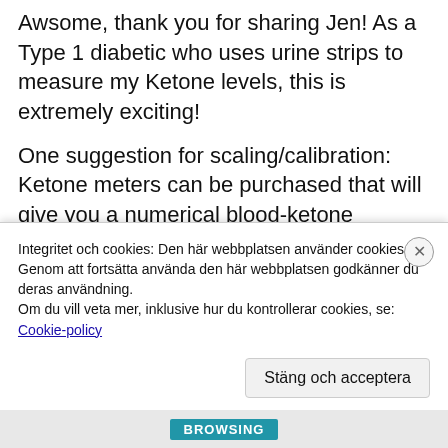Awsome, thank you for sharing Jen! As a Type 1 diabetic who uses urine strips to measure my Ketone levels, this is extremely exciting!
One suggestion for scaling/calibration: Ketone meters can be purchased that will give you a numerical blood-ketone reading, usually as a secondary fuction of a blood-glucose monitor. For example:
https://duckduckgo.com/l/?
kb=-1&uddg=http%3A%2F%2Fwww.novacares
Integritet och cookies: Den här webbplatsen använder cookies. Genom att fortsätta använda den här webbplatsen godkänner du deras användning.
Om du vill veta mer, inklusive hur du kontrollerar cookies, se:
Cookie-policy
Stäng och acceptera